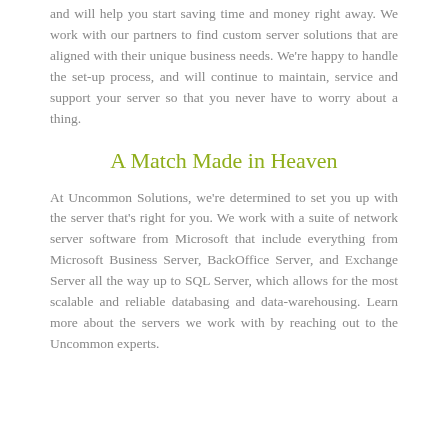and will help you start saving time and money right away. We work with our partners to find custom server solutions that are aligned with their unique business needs. We're happy to handle the set-up process, and will continue to maintain, service and support your server so that you never have to worry about a thing.
A Match Made in Heaven
At Uncommon Solutions, we're determined to set you up with the server that's right for you. We work with a suite of network server software from Microsoft that include everything from Microsoft Business Server, BackOffice Server, and Exchange Server all the way up to SQL Server, which allows for the most scalable and reliable databasing and data-warehousing. Learn more about the servers we work with by reaching out to the Uncommon experts.